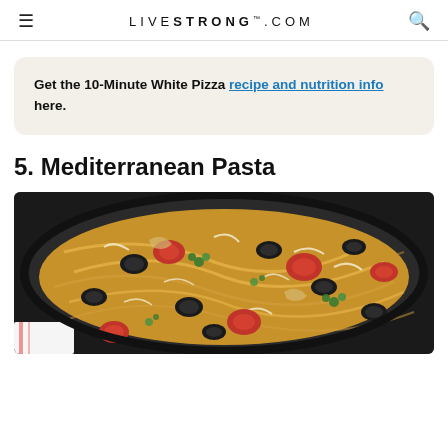LIVESTRONG.COM
Get the 10-Minute White Pizza recipe and nutrition info here.
5. Mediterranean Pasta
[Figure (photo): Overhead view of Mediterranean pasta dish with black olives, tomatoes, shredded cheese, and herbs in a cast iron skillet]